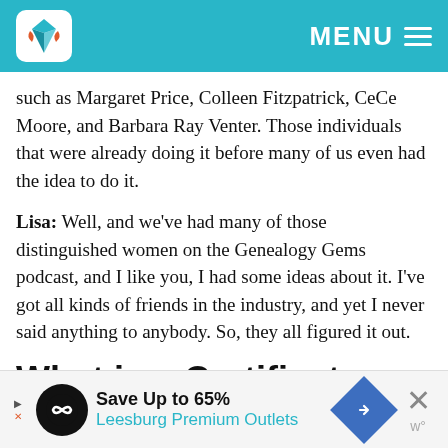MENU
such as Margaret Price, Colleen Fitzpatrick, CeCe Moore, and Barbara Ray Venter. Those individuals that were already doing it before many of us even had the idea to do it.
Lisa: Well, and we've had many of those distinguished women on the Genealogy Gems podcast, and I like you, I had some ideas about it. I've got all kinds of friends in the industry, and yet I never said anything to anybody. So, they all figured it out.
What is a Certificate
[Figure (infographic): Advertisement banner: Save Up to 65% Leesburg Premium Outlets with logo icons]